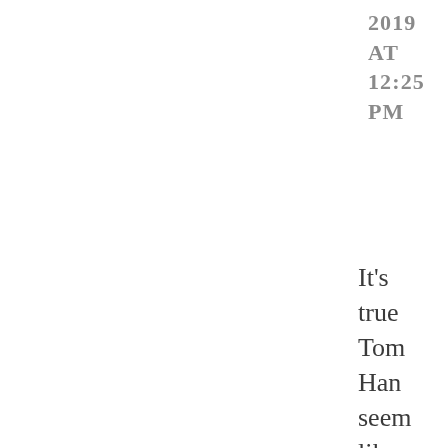2019 AT 12:25 PM
It's true Tom Han seem like he can do no